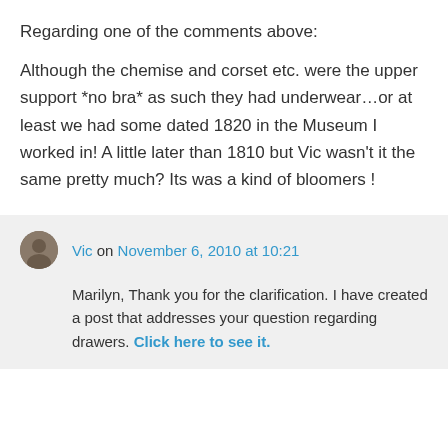Regarding one of the comments above:

Although the chemise and corset etc. were the upper support *no bra* as such they had underwear…or at least we had some dated 1820 in the Museum I worked in! A little later than 1810 but Vic wasn't it the same pretty much? Its was a kind of bloomers !
Vic on November 6, 2010 at 10:21
Marilyn, Thank you for the clarification. I have created a post that addresses your question regarding drawers. Click here to see it.